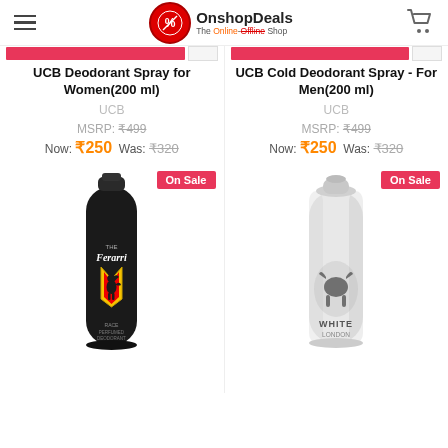OnshopDeals – The Online-Offline Shop
UCB Deodorant Spray for Women(200 ml)
UCB
MSRP: ₹499
Now: ₹250  Was: ₹320
UCB Cold Deodorant Spray - For Men(200 ml)
UCB
MSRP: ₹499
Now: ₹250  Was: ₹320
[Figure (photo): Ferrari black deodorant spray can with yellow prancing horse shield logo, labeled 'The Ferarri Race Perfumed Deodorant']
[Figure (photo): White deodorant spray can labeled 'White London']